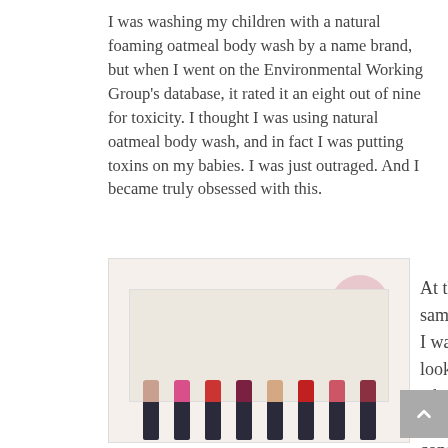I was washing my children with a natural foaming oatmeal body wash by a name brand, but when I went on the Environmental Working Group's database, it rated it an eight out of nine for toxicity. I thought I was using natural oatmeal body wash, and in fact I was putting toxins on my babies. I was just outraged. And I became truly obsessed with this.
[Figure (photo): A product photo showing eight lipsticks of various colors arranged in a row in front of a decorative patterned background card. A pink circular badge reads '$100 value'.]
At the same time, I was looking at where direct to consumer was going,